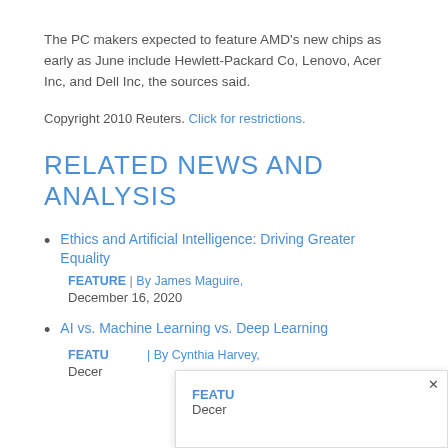The PC makers expected to feature AMD's new chips as early as June include Hewlett-Packard Co, Lenovo, Acer Inc, and Dell Inc, the sources said.
Copyright 2010 Reuters. Click for restrictions.
RELATED NEWS AND ANALYSIS
Ethics and Artificial Intelligence: Driving Greater Equality
FEATURE | By James Maguire, December 16, 2020
AI vs. Machine Learning vs. Deep Learning
FEATURE | By Cynthia Harvey, December...